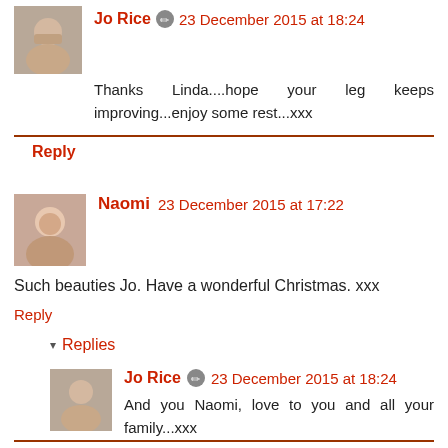[Figure (photo): Small avatar photo of Jo Rice, a woman with dark hair]
Jo Rice 🖉 23 December 2015 at 18:24
Thanks Linda....hope your leg keeps improving...enjoy some rest...xxx
Reply
[Figure (photo): Small avatar photo of Naomi, a woman with auburn hair]
Naomi 23 December 2015 at 17:22
Such beauties Jo. Have a wonderful Christmas. xxx
Reply
▾ Replies
[Figure (photo): Small avatar photo of Jo Rice, a woman with dark hair]
Jo Rice 🖉 23 December 2015 at 18:24
And you Naomi, love to you and all your family...xxx
Reply